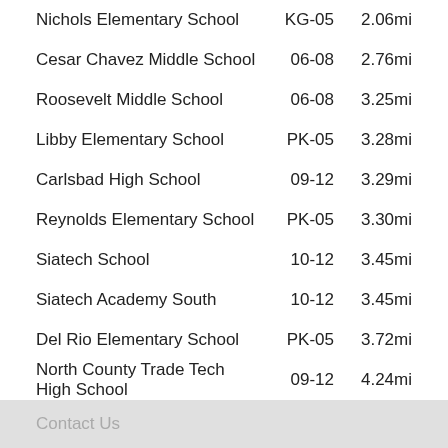Nichols Elementary School  KG-05  2.06mi
Cesar Chavez Middle School  06-08  2.76mi
Roosevelt Middle School  06-08  3.25mi
Libby Elementary School  PK-05  3.28mi
Carlsbad High School  09-12  3.29mi
Reynolds Elementary School  PK-05  3.30mi
Siatech School  10-12  3.45mi
Siatech Academy South  10-12  3.45mi
Del Rio Elementary School  PK-05  3.72mi
North County Trade Tech High School  09-12  4.24mi
Private Schools  Grades  Distance
Contact Us